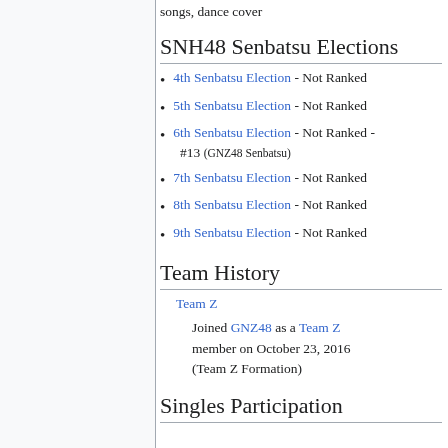songs, dance cover
SNH48 Senbatsu Elections
4th Senbatsu Election - Not Ranked
5th Senbatsu Election - Not Ranked
6th Senbatsu Election - Not Ranked - #13 (GNZ48 Senbatsu)
7th Senbatsu Election - Not Ranked
8th Senbatsu Election - Not Ranked
9th Senbatsu Election - Not Ranked
Team History
Team Z
Joined GNZ48 as a Team Z member on October 23, 2016 (Team Z Formation)
Singles Participation